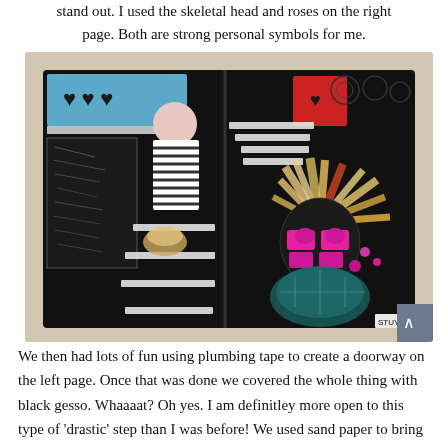stand out. I used the skeletal head and roses on the right page. Both are strong personal symbols for me.
[Figure (photo): Open art journal spread with dark black gesso background. Left page shows a doorway shape created with plumbing tape covered in black gesso with white marks. Right page shows a colorful collage with a skull/flower headdress figure in magenta/pink, with torn paper strips and a red heart shape at top. Blue page with hearts visible at upper left. Artist signature 'STUY' at bottom right.]
We then had lots of fun using plumbing tape to create a doorway on the left page. Once that was done we covered the whole thing with black gesso. Whaaaat? Oh yes. I am definitley more open to this type of 'drastic' step than I was before! We used sand paper to bring out the